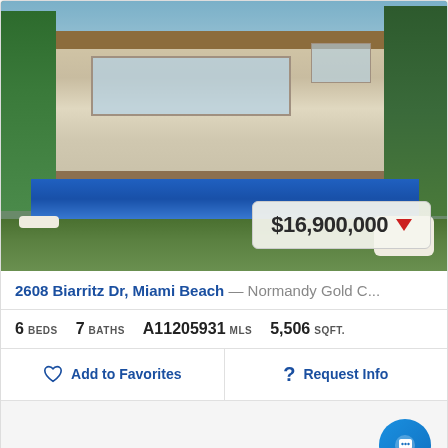[Figure (photo): Luxury modern home exterior with pool, patio furniture, and green lawn in Miami Beach]
$16,900,000 ▼
2608 Biarritz Dr, Miami Beach — Normandy Gold C...
6 BEDS  7 BATHS  A11205931 MLS  5,506 SQFT.
Add to Favorites
Request Info
1  2  3  4  5  7  Next »